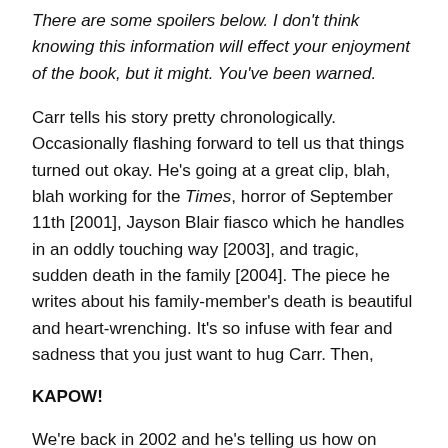There are some spoilers below. I don't think knowing this information will effect your enjoyment of the book, but it might. You've been warned.
Carr tells his story pretty chronologically. Occasionally flashing forward to tell us that things turned out okay. He's going at a great clip, blah, blah working for the Times, horror of September 11th [2001], Jayson Blair fiasco which he handles in an oddly touching way [2003], and tragic, sudden death in the family [2004]. The piece he writes about his family-member's death is beautiful and heart-wrenching. It's so infuse with fear and sadness that you just want to hug Carr. Then,
KAPOW!
We're back in 2002 and he's telling us how on November